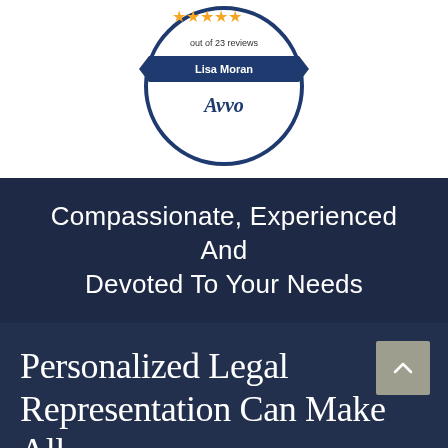[Figure (logo): Avvo badge showing rating for Lisa Moran with 5 stars, 'out of 23 reviews', name banner 'Lisa Moran', and 'Avvo' branding, dark blue circular badge design]
Compassionate, Experienced And Devoted To Your Needs
Personalized Legal Representation Can Make All The Difference